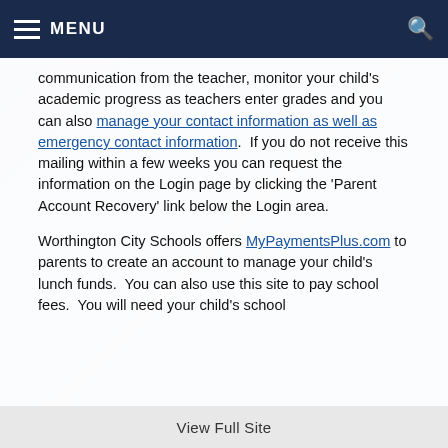MENU
communication from the teacher, monitor your child's academic progress as teachers enter grades and you can also manage your contact information as well as emergency contact information.  If you do not receive this mailing within a few weeks you can request the information on the Login page by clicking the 'Parent Account Recovery' link below the Login area.
Worthington City Schools offers MyPaymentsPlus.com to parents to create an account to manage your child's lunch funds.  You can also use this site to pay school fees.  You will need your child's school
View Full Site